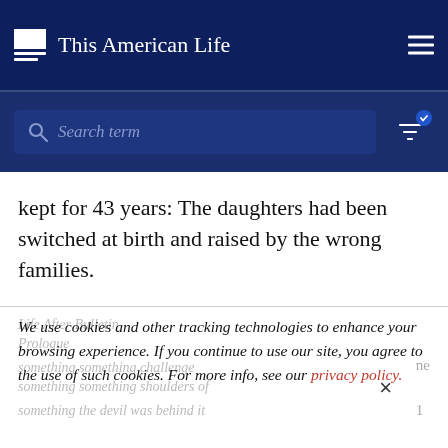This American Life
[Figure (screenshot): Search bar with placeholder text 'Search term' and filter icon with checkmark badge]
kept for 43 years: The daughters had been switched at birth and raised by the wrong families.
We use cookies and other tracking technologies to enhance your browsing experience. If you continue to use our site, you agree to the use of such cookies. For more info, see our privacy policy.